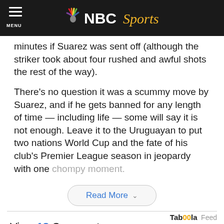NBC Sports
minutes if Suarez was sent off (although the striker took about four rushed and awful shots the rest of the way).
There's no question it was a scummy move by Suarez, and if he gets banned for any length of time — including life — some will say it is not enough. Leave it to the Uruguayan to put two nations World Cup and the fate of his club's Premier League season in jeopardy with one chompy moment.
Read More
View 18 Comments
Taboola Feed